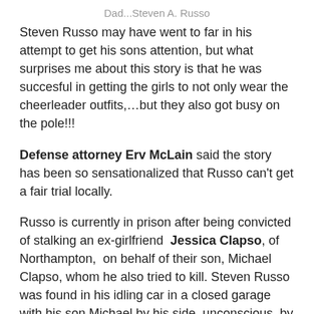Dad...Steven A. Russo
Steven Russo may have went to far in his attempt to get his sons attention, but what surprises me about this story is that he was succesful in getting the girls to not only wear the cheerleader outfits,…but they also got busy on the pole!!!
Defense attorney Erv McLain said the story has been so sensationalized that Russo can't get a fair trial locally.
Russo is currently in prison after being convicted of stalking an ex-girlfriend  Jessica Clapso, of Northampton,  on behalf of their son, Michael Clapso, whom he also tried to kill. Steven Russo was found in his idling car in a closed garage with his son Michael by his side, unconscious, by his grandfather, who just happened to stop by their house.